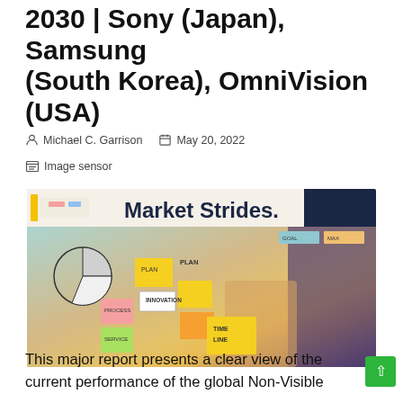2030 | Sony (Japan), Samsung (South Korea), OmniVision (USA)
Michael C. Garrison   May 20, 2022
Image sensor
[Figure (photo): Market Strides banner image showing a person placing sticky notes on a planning board with charts and diagrams]
This major report presents a clear view of the current performance of the global Non-Visible